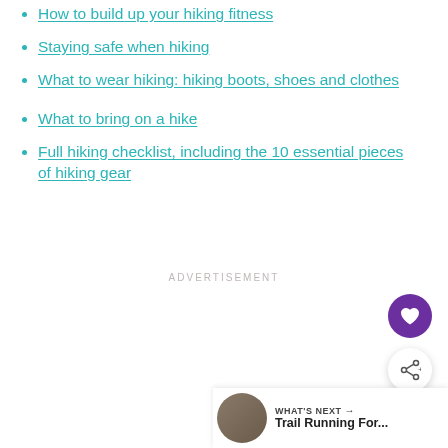How to build up your hiking fitness
Staying safe when hiking
What to wear hiking: hiking boots, shoes and clothes
What to bring on a hike
Full hiking checklist, including the 10 essential pieces of hiking gear
ADVERTISEMENT
[Figure (infographic): Purple circular favorite/heart button and white circular share button (UI elements)]
WHAT'S NEXT → Trail Running For...